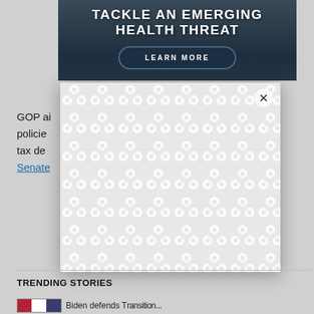[Figure (photo): Advertisement banner with dark blue background showing 'TACKLE AN EMERGING HEALTH THREAT' text and 'LEARN MORE' button]
GOP ai... policies... ting tax dec... e Senate...
[Figure (other): Modal overlay popup with white/light gray repeating bubble/chain pattern background and X close button]
TRENDING STORIES
[Figure (illustration): Bottom thumbnail with Made In flag and article preview]